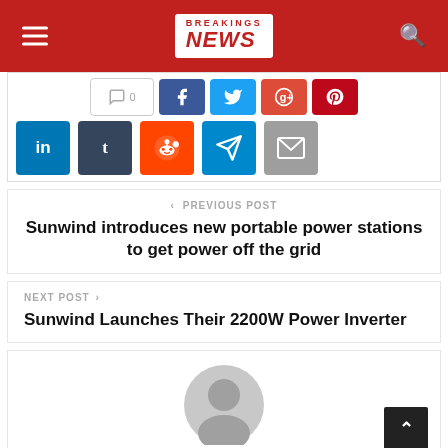BREAKINGS NEWS
[Figure (screenshot): Social media share buttons row: count box, Facebook, Twitter, Google+, Pinterest]
[Figure (screenshot): Social media share buttons row 2: LinkedIn, Tumblr, Reddit, Telegram, Email]
< PREVIOUS POST
Sunwind introduces new portable power stations to get power off the grid
NEXT POST >
Sunwind Launches Their 2200W Power Inverter
[Figure (illustration): Generic user avatar placeholder (grey circle with person silhouette)]